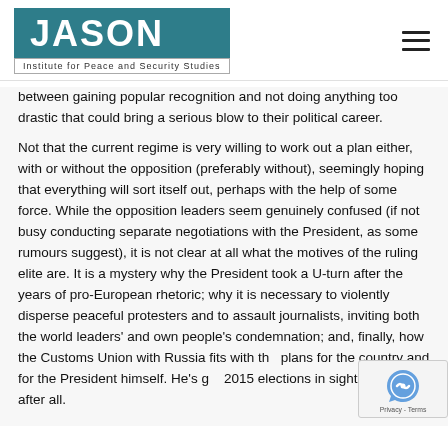JASON Institute for Peace and Security Studies
between gaining popular recognition and not doing anything too drastic that could bring a serious blow to their political career.
Not that the current regime is very willing to work out a plan either, with or without the opposition (preferably without), seemingly hoping that everything will sort itself out, perhaps with the help of some force. While the opposition leaders seem genuinely confused (if not busy conducting separate negotiations with the President, as some rumours suggest), it is not clear at all what the motives of the ruling elite are. It is a mystery why the President took a U-turn after the years of pro-European rhetoric; why it is necessary to violently disperse peaceful protesters and to assault journalists, inviting both the world leaders' and own people's condemnation; and, finally, how the Customs Union with Russia fits with the plans for the country and for the President himself. He's got 2015 elections in sight as well, after all.